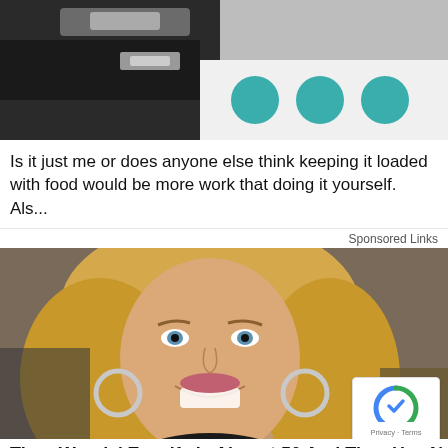[Figure (photo): Top portion of a kitchen appliance or machine with teal/turquoise circular buttons on a white panel, dark background]
Is it just me or does anyone else think keeping it loaded with food would be more work that doing it yourself. Als...
Sponsored Links
[Figure (photo): Close-up photo of a smiling blonde woman with blue eyes and large hoop earrings wearing a black turtleneck]
Tiger Woods' Ex-wife is Almost 50 And Time Has Not